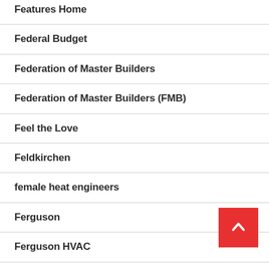Features Home
Federal Budget
Federation of Master Builders
Federation of Master Builders (FMB)
Feel the Love
Feldkirchen
female heat engineers
Ferguson
Ferguson HVAC